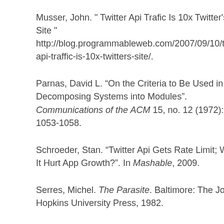Musser, John. " Twitter Api Trafic Is 10x Twitter's Site " http://blog.programmableweb.com/2007/09/10/twitter-api-traffic-is-10x-twitters-site/.
Parnas, David L. “On the Criteria to Be Used in Decomposing Systems into Modules”. Communications of the ACM 15, no. 12 (1972): 1053-1058.
Schroeder, Stan. “Twitter Api Gets Rate Limit; Will It Hurt App Growth?”. In Mashable, 2009.
Serres, Michel. The Parasite. Baltimore: The John Hopkins University Press, 1982.